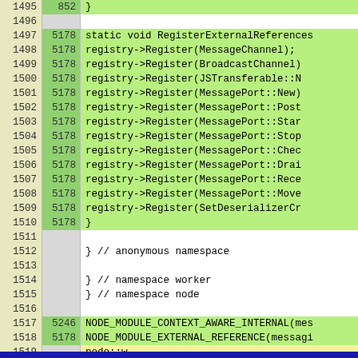[Figure (screenshot): Code coverage view showing source lines 1495-1519 with line numbers, coverage counts, and source code. Green highlighted lines indicate covered code. Lines show RegisterExternalReferences function with registry->Register calls, anonymous namespace closing braces, and NODE_MODULE macros.]